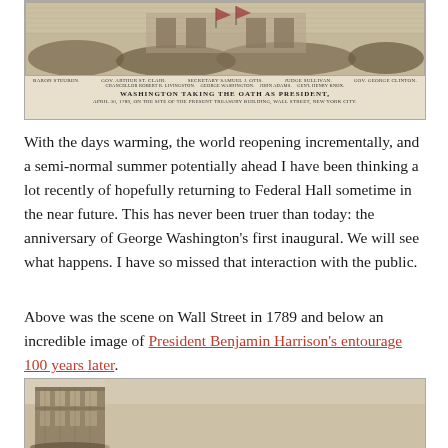[Figure (photo): Historical engraving of Washington taking the oath as President, April 30, 1789, on the site of the present Treasury Building, Wall Street, New York City. Shows crowd scene with labeled figures including Baron Steuben, Gov. Arthur St. Clair, Secretary Samuel A. Otis, Judge Sullivan, Gov. George Clinton, Chancellor Robert R. Livingston, George Washington, John Adams, Gen. Henry Knox.]
With the days warming, the world reopening incrementally, and a semi-normal summer potentially ahead I have been thinking a lot recently of hopefully returning to Federal Hall sometime in the near future. This has never been truer than today: the anniversary of George Washington's first inaugural. We will see what happens. I have so missed that interaction with the public.
Above was the scene on Wall Street in 1789 and below an incredible image of President Benjamin Harrison's entourage 100 years later.
[Figure (photo): Historical photograph of President Benjamin Harrison's entourage on Wall Street, 100 years after Washington's inauguration (1889). Shows decorated building facade with crowds.]